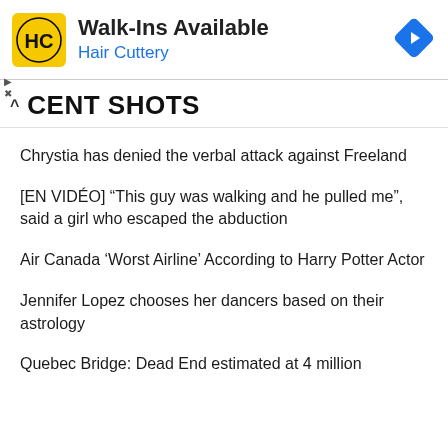[Figure (logo): Hair Cuttery advertisement banner with yellow HC logo, text 'Walk-Ins Available' and 'Hair Cuttery' in blue, and a blue diamond navigation icon on the right]
RECENT SHOTS
Chrystia has denied the verbal attack against Freeland
[EN VIDÉO] “This guy was walking and he pulled me”, said a girl who escaped the abduction
Air Canada ‘Worst Airline’ According to Harry Potter Actor
Jennifer Lopez chooses her dancers based on their astrology
Quebec Bridge: Dead End estimated at 4 million